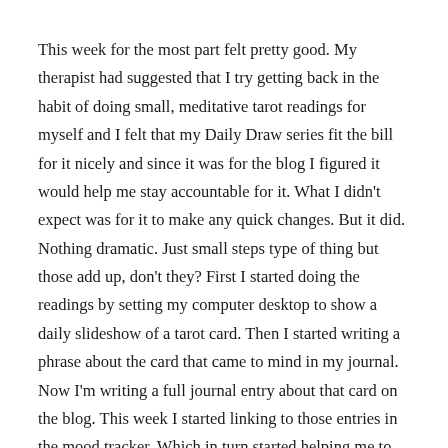This week for the most part felt pretty good. My therapist had suggested that I try getting back in the habit of doing small, meditative tarot readings for myself and I felt that my Daily Draw series fit the bill for it nicely and since it was for the blog I figured it would help me stay accountable for it. What I didn't expect was for it to make any quick changes. But it did. Nothing dramatic. Just small steps type of thing but those add up, don't they? First I started doing the readings by setting my computer desktop to show a daily slideshow of a tarot card. Then I started writing a phrase about the card that came to mind in my journal. Now I'm writing a full journal entry about that card on the blog. This week I started linking to those entries in the mood tracker. Which in turn started helping me to